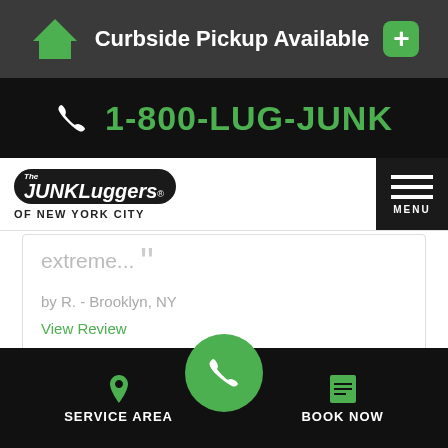Curbside Pickup Available
1-800-LUG-JUNK
[Figure (logo): The Junkluggers of New York City logo with hamburger menu button]
extreme...
by R. - Brooklyn, NY
View Review
[Figure (other): Five gold star rating]
SERVICE AREA | BOOK NOW